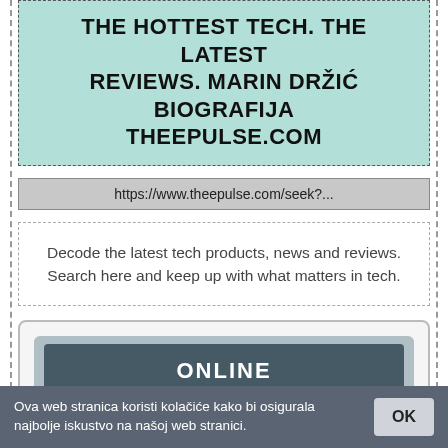THE HOTTEST TECH. THE LATEST REVIEWS. MARIN DRŽIĆ BIOGRAFIJA THEEPULSE.COM
https://www.theepulse.com/seek?...
Decode the latest tech products, news and reviews. Search here and keep up with what matters in tech.
[Figure (screenshot): Action card with ONLINE button and two buttons: PREGLED (with eye icon) and POGLED (with external link icon)]
Ova web stranica koristi kolačiće kako bi osigurala najbolje iskustvo na našoj web stranici.